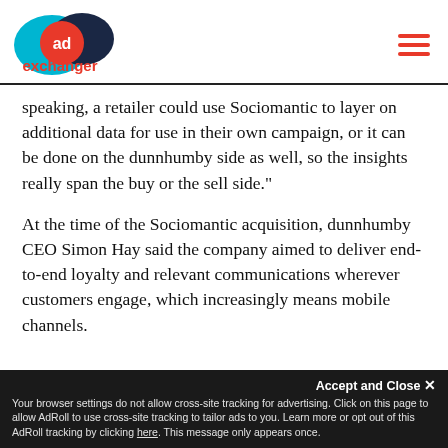AdExchanger logo and navigation
speaking, a retailer could use Sociomantic to layer on additional data for use in their own campaign, or it can be done on the dunnhumby side as well, so the insights really span the buy or the sell side."
At the time of the Sociomantic acquisition, dunnhumby CEO Simon Hay said the company aimed to deliver end-to-end loyalty and relevant communications wherever customers engage, which increasingly means mobile channels.
Accept and Close ✕ Your browser settings do not allow cross-site tracking for advertising. Click on this page to allow AdRoll to use cross-site tracking to tailor ads to you. Learn more or opt out of this AdRoll tracking by clicking here. This message only appears once.